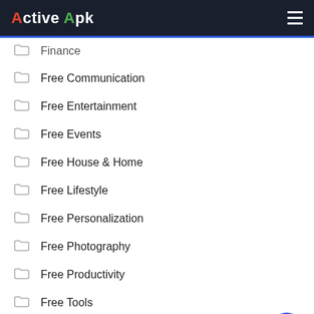Active Apk
Finance
Free Communication
Free Entertainment
Free Events
Free House & Home
Free Lifestyle
Free Personalization
Free Photography
Free Productivity
Free Tools
Games